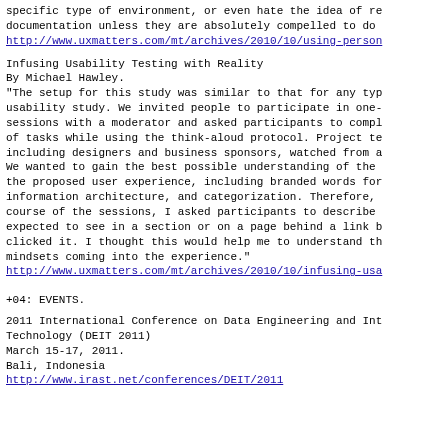specific type of environment, or even hate the idea of re documentation unless they are absolutely compelled to do
http://www.uxmatters.com/mt/archives/2010/10/using-person
Infusing Usability Testing with Reality
By Michael Hawley.
"The setup for this study was similar to that for any typ usability study. We invited people to participate in one- sessions with a moderator and asked participants to compl of tasks while using the think-aloud protocol. Project te including designers and business sponsors, watched from a We wanted to gain the best possible understanding of the the proposed user experience, including branded words for information architecture, and categorization. Therefore, course of the sessions, I asked participants to describe expected to see in a section or on a page behind a link b clicked it. I thought this would help me to understand th mindsets coming into the experience."
http://www.uxmatters.com/mt/archives/2010/10/infusing-usa
+04: EVENTS.
2011 International Conference on Data Engineering and Int Technology (DEIT 2011)
March 15-17, 2011.
Bali, Indonesia
http://www.irast.net/conferences/DEIT/2011